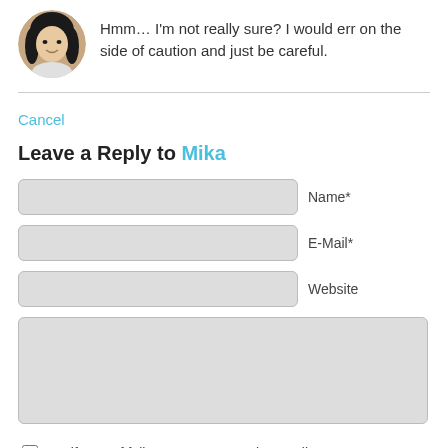[Figure (photo): Circular avatar photo of a woman with dark hair]
Hmm… I'm not really sure? I would err on the side of caution and just be careful.
Cancel
Leave a Reply to Mika
Name*
E-Mail*
Website
Notify me of follow-up comments by email.